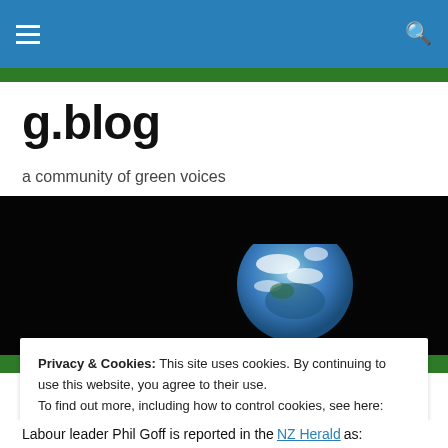g.blog navigation bar with hamburger menu and search icon
g.blog
a community of green voices
[Figure (photo): Earth seen from space against a black background, showing a partial view of the blue and white globe]
Privacy & Cookies: This site uses cookies. By continuing to use this website, you agree to their use. To find out more, including how to control cookies, see here: Cookie Policy
Labour leader Phil Goff is reported in the NZ Herald as: